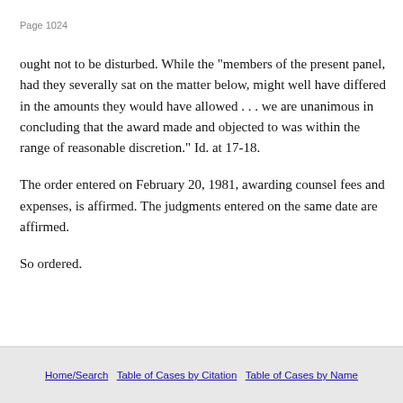Page 1024
ought not to be disturbed. While the "members of the present panel, had they severally sat on the matter below, might well have differed in the amounts they would have allowed . . . we are unanimous in concluding that the award made and objected to was within the range of reasonable discretion." Id. at 17-18.
The order entered on February 20, 1981, awarding counsel fees and expenses, is affirmed. The judgments entered on the same date are affirmed.
So ordered.
Home/Search   Table of Cases by Citation   Table of Cases by Name